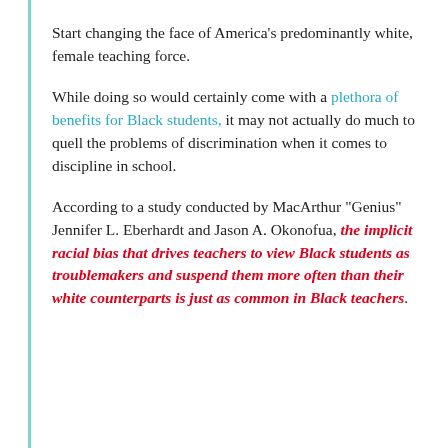Start changing the face of America's predominantly white, female teaching force.
While doing so would certainly come with a plethora of benefits for Black students, it may not actually do much to quell the problems of discrimination when it comes to discipline in school.
According to a study conducted by MacArthur "Genius" Jennifer L. Eberhardt and Jason A. Okonofua, the implicit racial bias that drives teachers to view Black students as troublemakers and suspend them more often than their white counterparts is just as common in Black teachers.